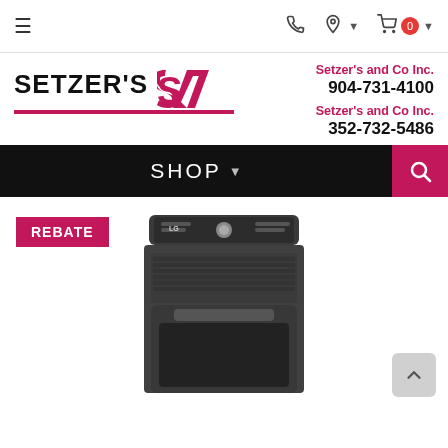Navigation bar with hamburger menu, phone icon, location icon, and cart icon with 0 badge
[Figure (logo): Setzer's logo with bold black text SETZER'S and a pink S letter mark with pink underline]
Setzer's and Co Inc.
904-731-4100
Setzer's and Co Inc.
352-732-5486
[Figure (infographic): Black navigation bar with SHOP dropdown and pink search button]
REBATE
[Figure (photo): LG top-load washing machine in dark graphite steel color, partially cropped]